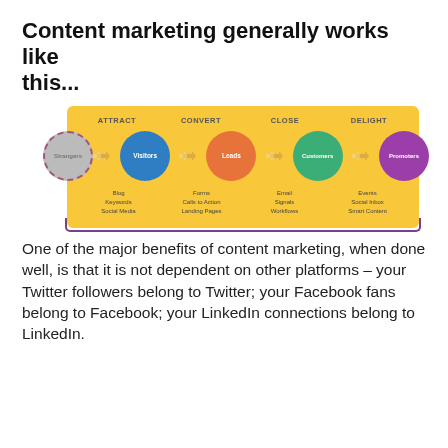Content marketing generally works like this...
[Figure (flowchart): A HubSpot-style inbound marketing funnel diagram showing four stages: ATTRACT (Strangers → Visitors), CONVERT (Visitors → Leads), CLOSE (Leads → Customers), DELIGHT (Customers → Promoters). Each stage has a colored circle node and sub-labels for tools/tactics: Blog, Keywords, Social Media | Forms, Calls to Action, Landing Pages | Email, Signals, Workflows | Events, Social Inbox, Smart Content. A purple bracket underlies the yellow background panel.]
One of the major benefits of content marketing, when done well, is that it is not dependent on other platforms – your Twitter followers belong to Twitter; your Facebook fans belong to Facebook; your LinkedIn connections belong to LinkedIn.